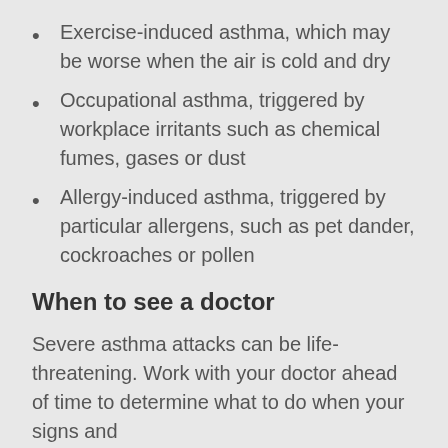Exercise-induced asthma, which may be worse when the air is cold and dry
Occupational asthma, triggered by workplace irritants such as chemical fumes, gases or dust
Allergy-induced asthma, triggered by particular allergens, such as pet dander, cockroaches or pollen
When to see a doctor
Severe asthma attacks can be life-threatening. Work with your doctor ahead of time to determine what to do when your signs and